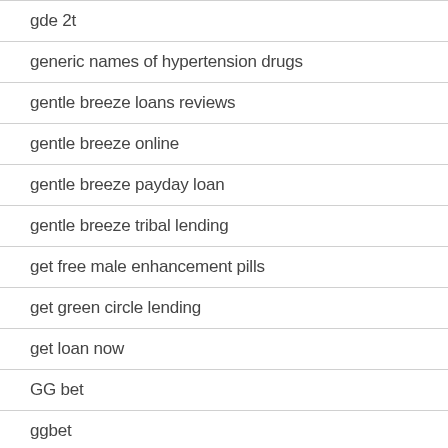gde 2t
generic names of hypertension drugs
gentle breeze loans reviews
gentle breeze online
gentle breeze payday loan
gentle breeze tribal lending
get free male enhancement pills
get green circle lending
get loan now
GG bet
ggbet